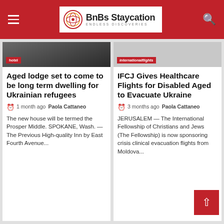BnBs Staycation — ENDLESS DISCOVERIES
Aged lodge set to come to be long term dwelling for Ukrainian refugees
1 month ago  Paola Cattaneo
The new house will be termed the Prosper Middle. SPOKANE, Wash. — The Previous High-quality Inn by East Fourth Avenue...
IFCJ Gives Healthcare Flights for Disabled Aged to Evacuate Ukraine
3 months ago  Paola Cattaneo
JERUSALEM — The International Fellowship of Christians and Jews (The Fellowship) is now sponsoring crisis clinical evacuation flights from Moldova...